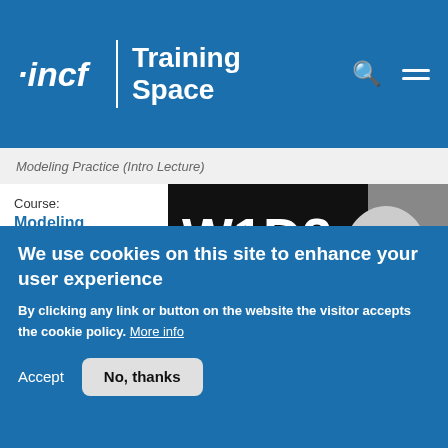incf | Training Space
Modeling Practice (Intro Lecture)
Course: Modeling Practice
This lecture is part of the Neuromatch Academy (NMA), a
[Figure (screenshot): Video thumbnail showing W1D2 - What do models buy us? Intro lecture by Megan Peters, with neuromatch academy branding and a photo of Megan Peters]
We use cookies on this site to enhance your user experience
By clicking any link or button on the website the visitor accepts the cookie policy. More info
Accept
No, thanks